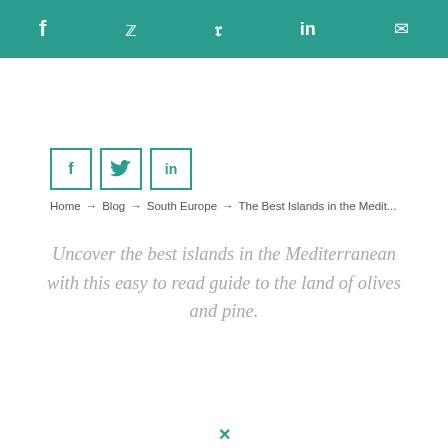f  Twitter  Pinterest  in  Email
[Figure (other): Social share buttons: Facebook (f), Twitter (bird), LinkedIn (in) in teal-bordered square boxes]
Home → Blog → South Europe → The Best Islands in the Medit...
Uncover the best islands in the Mediterranean with this easy to read guide to the land of olives and pine.